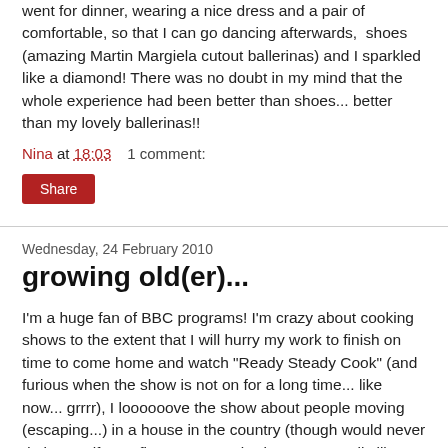went for dinner, wearing a nice dress and a pair of comfortable, so that I can go dancing afterwards,  shoes (amazing Martin Margiela cutout ballerinas) and I sparkled like a diamond! There was no doubt in my mind that the whole experience had been better than shoes... better than my lovely ballerinas!!
Nina at 18:03   1 comment:
Share
Wednesday, 24 February 2010
growing old(er)...
I'm a huge fan of BBC programs! I'm crazy about cooking shows to the extent that I will hurry my work to finish on time to come home and watch "Ready Steady Cook" (and furious when the show is not on for a long time... like now... grrrr), I loooooove the show about people moving (escaping...) in a house in the country (though would never do it myself... go figure... guess it's because I really like architecture  and I'm interested in the different types of houses they show) and I'm